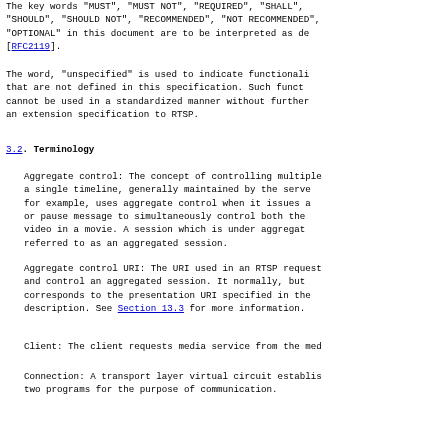The key words "MUST", "MUST NOT", "REQUIRED", "SHALL", "SHOULD", "SHOULD NOT", "RECOMMENDED", "NOT RECOMMENDED", "OPTIONAL" in this document are to be interpreted as described in [RFC2119].
The word, "unspecified" is used to indicate functionality that are not defined in this specification. Such functionality cannot be used in a standardized manner without further an extension specification to RTSP.
3.2. Terminology
Aggregate control: The concept of controlling multiple a single timeline, generally maintained by the server for example, uses aggregate control when it issues a or pause message to simultaneously control both the video in a movie. A session which is under aggregate referred to as an aggregated session.
Aggregate control URI: The URI used in an RTSP request and control an aggregated session. It normally, but corresponds to the presentation URI specified in the description. See Section 13.3 for more information.
Client: The client requests media service from the media server.
Connection: A transport layer virtual circuit established between two programs for the purpose of communication.